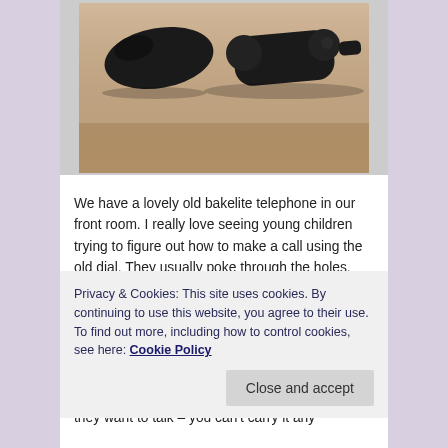[Figure (photo): Black bakelite telephone parts (handset and body) on a wooden surface, photographed from above. The objects are dark/black and sit on a warm brown wooden table.]
We have a lovely old bakelite telephone in our front room. I really love seeing young children trying to figure out how to make a call using the old dial.  They usually poke through the holes, expecting to find buttons.  When they realise they need to turn the dial, they struggle against the weight of the mechanism, their fingers slipping and failing to complete the circuit.  They marvel at the weight of the handset and don't understand that they have to stay next to the telephone if they want to talk – you can't carry it any
Privacy & Cookies: This site uses cookies. By continuing to use this website, you agree to their use.
To find out more, including how to control cookies, see here: Cookie Policy
Close and accept